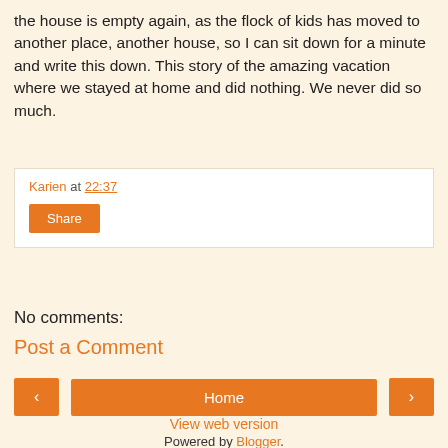the house is empty again, as the flock of kids has moved to another place, another house, so I can sit down for a minute and write this down. This story of the amazing vacation where we stayed at home and did nothing. We never did so much.
Karien at 22:37 Share
No comments:
Post a Comment
‹ Home › View web version Powered by Blogger.